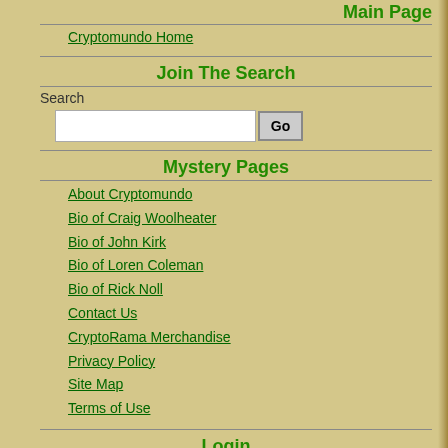Main Page
Cryptomundo Home
Join The Search
Search
Mystery Pages
About Cryptomundo
Bio of Craig Woolheater
Bio of John Kirk
Bio of Loren Coleman
Bio of Rick Noll
Contact Us
CryptoRama Merchandise
Privacy Policy
Site Map
Terms of Use
Login
Register
Log in
XHTML
CSS
[Figure (infographic): Social media icons: Twitter (blue bird), Instagram (camera), Pinterest (red P)]
Advertisers
[Figure (photo): Collage of cryptid-related photos including a person in field, feathers/claws, old photos, and mysterious objects]
[Figure (illustration): Highly Articulated Crypto Action Figures advertisement showing green creature, Sasquatch figures, Himalayan figure, North American Sasquatch text]